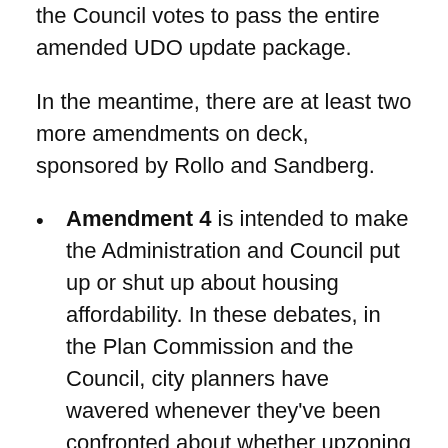the Council votes to pass the entire amended UDO update package.
In the meantime, there are at least two more amendments on deck, sponsored by Rollo and Sandberg.
Amendment 4 is intended to make the Administration and Council put up or shut up about housing affordability. In these debates, in the Plan Commission and the Council, city planners have wavered whenever they've been confronted about whether upzoning would contribute anything to affordability. Amendment 4 would limit duplexes to two bedrooms per unit, but offer an exemption on third bedroom…